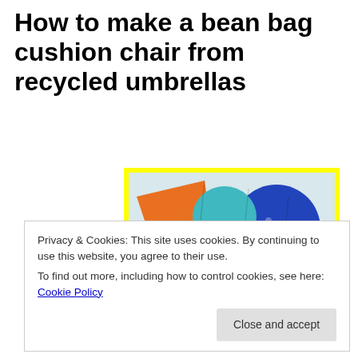How to make a bean bag cushion chair from recycled umbrellas
[Figure (photo): Colorful bean bag cushion chairs made from recycled umbrella fabric panels in various colors including red, orange, pink, blue, green, and yellow, arranged together on a light floor.]
Privacy & Cookies: This site uses cookies. By continuing to use this website, you agree to their use.
To find out more, including how to control cookies, see here: Cookie Policy
Close and accept